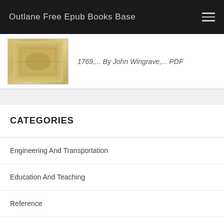Outlane Free Epub Books Base
[Figure (photo): Thumbnail image of a book cover with a vintage illustration]
1769,... By John Wingrave,... PDF
CATEGORIES
Engineering And Transportation
Education And Teaching
Reference
Biographies And Memoirs
Humor And Entertainment